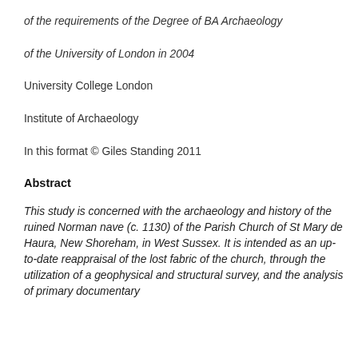of the requirements of the Degree of BA Archaeology
of the University of London in 2004
University College London
Institute of Archaeology
In this format © Giles Standing 2011
Abstract
This study is concerned with the archaeology and history of the ruined Norman nave (c. 1130) of the Parish Church of St Mary de Haura, New Shoreham, in West Sussex. It is intended as an up-to-date reappraisal of the lost fabric of the church, through the utilization of a geophysical and structural survey, and the analysis of primary documentary